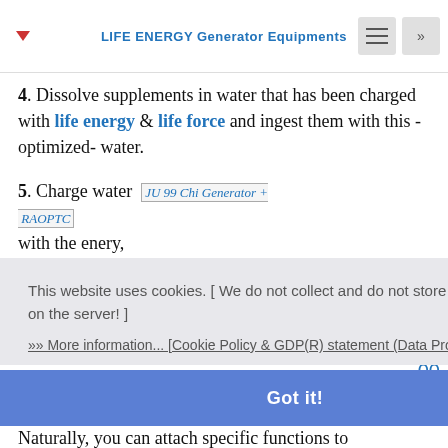LIFE ENERGY Generator Equipments
4. Dissolve supplements in water that has been charged with life energy & life force and ingest them with this -optimized- water.
5. Charge water JU 99 Chi Generator + RAOPTC with the enery, or function of
This website uses cookies. [ We do not collect and do not store any personal information on the server! ]
»» More information... [Cookie Policy & GDP(R) statement (Data Protection Declaration)]
Got it!
Naturally, you can attach specific functions to